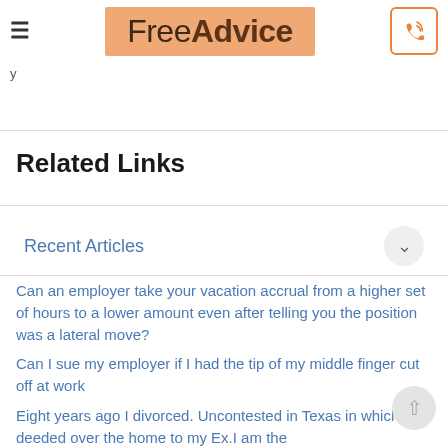FreeAdvice
Related Links
Recent Articles
Can an employer take your vacation accrual from a higher set of hours to a lower amount even after telling you the position was a lateral move?
Can I sue my employer if I had the tip of my middle finger cut off at work
Eight years ago I divorced. Uncontested in Texas in which I deeded over the home to my Ex.I am the